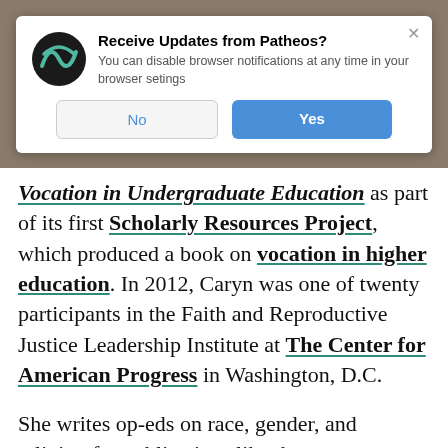[Figure (screenshot): Browser notification popup from Patheos with logo, title 'Receive Updates from Patheos?', subtitle text, and No/Yes buttons]
Vocation in Undergraduate Education as part of its first Scholarly Resources Project, which produced a book on vocation in higher education. In 2012, Caryn was one of twenty participants in the Faith and Reproductive Justice Leadership Institute at The Center for American Progress in Washington, D.C.

She writes op-eds on race, gender, and religion for publications like the